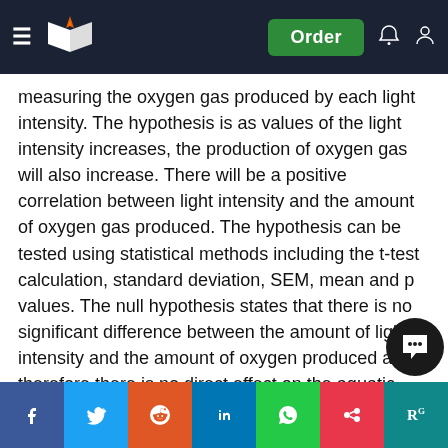Navigation bar with logo, Order button, and icons
measuring the oxygen gas produced by each light intensity. The hypothesis is as values of the light intensity increases, the production of oxygen gas will also increase. There will be a positive correlation between light intensity and the amount of oxygen gas produced. The hypothesis can be tested using statistical methods including the t-test calculation, standard deviation, SEM, mean and p values. The null hypothesis states that there is no significant difference between the amount of light intensity and the amount of oxygen produced and therefore there is no direct effect on the aquatic plant’s photosynthetic rate. The prediction is if the light intensity of the treatment group increases, then the amount of oxygen gas produced will also increase but will then decrease at a certain value of light intensity because at that particular value enzyme that is present will be deactivated by temperature. This prediction can be supported by past experiments that
Social share bar: Facebook, Twitter, Reddit, LinkedIn, WhatsApp, Mendeley, ResearchGate